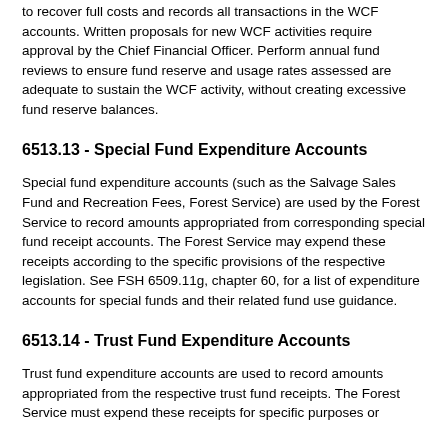to recover full costs and records all transactions in the WCF accounts. Written proposals for new WCF activities require approval by the Chief Financial Officer. Perform annual fund reviews to ensure fund reserve and usage rates assessed are adequate to sustain the WCF activity, without creating excessive fund reserve balances.
6513.13 - Special Fund Expenditure Accounts
Special fund expenditure accounts (such as the Salvage Sales Fund and Recreation Fees, Forest Service) are used by the Forest Service to record amounts appropriated from corresponding special fund receipt accounts. The Forest Service may expend these receipts according to the specific provisions of the respective legislation. See FSH 6509.11g, chapter 60, for a list of expenditure accounts for special funds and their related fund use guidance.
6513.14 - Trust Fund Expenditure Accounts
Trust fund expenditure accounts are used to record amounts appropriated from the respective trust fund receipts. The Forest Service must expend these receipts for specific purposes or